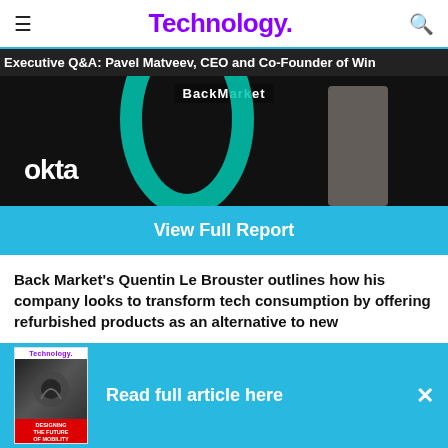Technology.
Executive Q&A: Pavel Matveev, CEO and Co-Founder of Win
[Figure (photo): Image showing Okta logo on dark background with teal arc and Back Market text, person visible in background]
View Full Report
Back Market's Quentin Le Brouster outlines how his company looks to transform tech consumption by offering refurbished products as an alternative to new
Consumer behaviour is undoubtedly changing. As
Read full article here